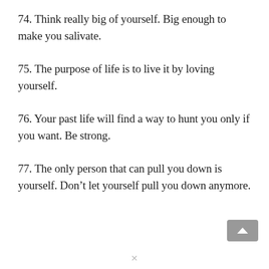74. Think really big of yourself. Big enough to make you salivate.
75. The purpose of life is to live it by loving yourself.
76. Your past life will find a way to hunt you only if you want. Be strong.
77. The only person that can pull you down is yourself. Don’t let yourself pull you down anymore.